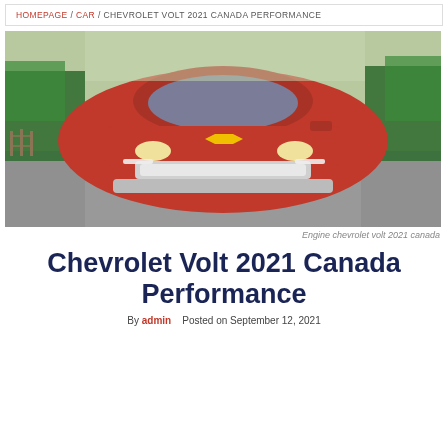HOMEPAGE / CAR / CHEVROLET VOLT 2021 CANADA PERFORMANCE
[Figure (photo): Front view of a red Chevrolet Volt driving on a road with trees in the background]
Engine chevrolet volt 2021 canada
Chevrolet Volt 2021 Canada Performance
By admin   Posted on September 12, 2021